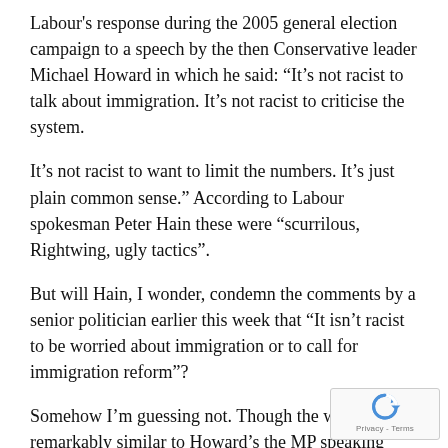Labour's response during the 2005 general election campaign to a speech by the then Conservative leader Michael Howard in which he said: “It’s not racist to talk about immigration. It’s not racist to criticise the system.
It’s not racist to want to limit the numbers. It’s just plain common sense.” According to Labour spokesman Peter Hain these were “scurrilous, Rightwing, ugly tactics”.
But will Hain, I wonder, condemn the comments by a senior politician earlier this week that “It isn’t racist to be worried about immigration or to call for immigration reform”?
Somehow I’m guessing not. Though the words sound remarkably similar to Howard’s the MP speaking them this time was none other than
[Figure (other): Google reCAPTCHA logo and Privacy-Terms link badge in bottom-right corner]